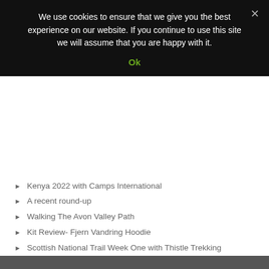We use cookies to ensure that we give you the best experience on our website. If you continue to use this site we will assume that you are happy with it.
Ok
Kenya 2022 with Camps International
A recent round-up
Walking The Avon Valley Path
Kit Review- Fjern Vandring Hoodie
Scottish National Trail Week One with Thistle Trekking
Categories
Select Category